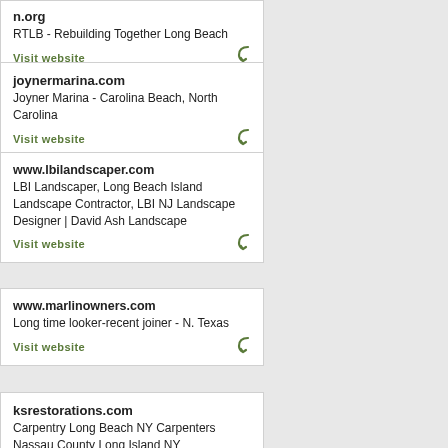n.org
RTLB - Rebuilding Together Long Beach
Visit website
joynermarina.com
Joyner Marina - Carolina Beach, North Carolina
Visit website
www.lbilandscaper.com
LBI Landscaper, Long Beach Island Landscape Contractor, LBI NJ Landscape Designer | David Ash Landscape
Visit website
www.marlinowners.com
Long time looker-recent joiner - N. Texas
Visit website
ksrestorations.com
Carpentry Long Beach NY Carpenters Nassau County Long Island NY